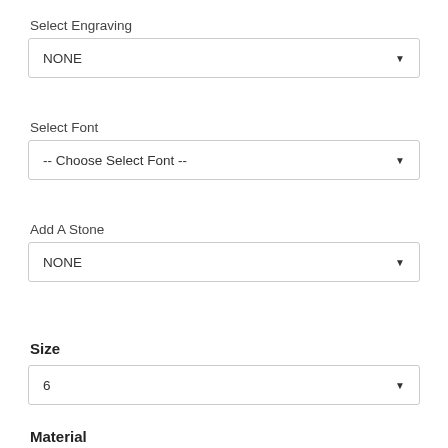Select Engraving
NONE
Select Font
-- Choose Select Font --
Add A Stone
NONE
Size
6
Material
SAPPHIRE AND TUNGSTEN CARBIDE